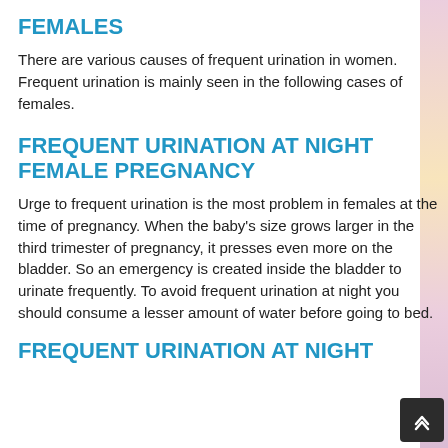FEMALES
There are various causes of frequent urination in women. Frequent urination is mainly seen in the following cases of females.
FREQUENT URINATION AT NIGHT FEMALE PREGNANCY
Urge to frequent urination is the most problem in females at the time of pregnancy. When the baby's size grows larger in the third trimester of pregnancy, it presses even more on the bladder. So an emergency is created inside the bladder to urinate frequently. To avoid frequent urination at night you should consume a lesser amount of water before going to bed.
FREQUENT URINATION AT NIGHT